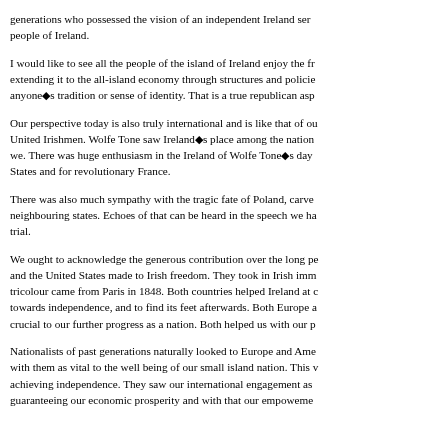generations who possessed the vision of an independent Ireland ser... people of Ireland.
I would like to see all the people of the island of Ireland enjoy the fr... extending it to the all-island economy through structures and policie... anyone■s tradition or sense of identity. That is a true republican asp...
Our perspective today is also truly international and is like that of ou... United Irishmen. Wolfe Tone saw Ireland■s place among the nation... we. There was huge enthusiasm in the Ireland of Wolfe Tone■s day... States and for revolutionary France.
There was also much sympathy with the tragic fate of Poland, carve... neighbouring states. Echoes of that can be heard in the speech we ha... trial.
We ought to acknowledge the generous contribution over the long pe... and the United States made to Irish freedom. They took in Irish imm... tricolour came from Paris in 1848. Both countries helped Ireland at c... towards independence, and to find its feet afterwards. Both Europe a... crucial to our further progress as a nation. Both helped us with our p...
Nationalists of past generations naturally looked to Europe and Ame... with them as vital to the well being of our small island nation. This v... achieving independence. They saw our international engagement as... guaranteeing our economic prosperity and with that our empowermen...